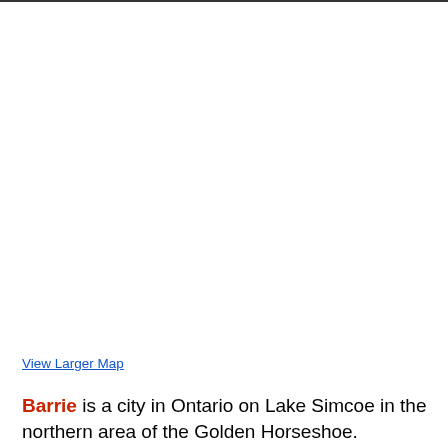[Figure (map): Embedded map showing Barrie, Ontario on Lake Simcoe area (blank/unloaded map placeholder)]
View Larger Map
Barrie is a city in Ontario on Lake Simcoe in the northern area of the Golden Horseshoe.